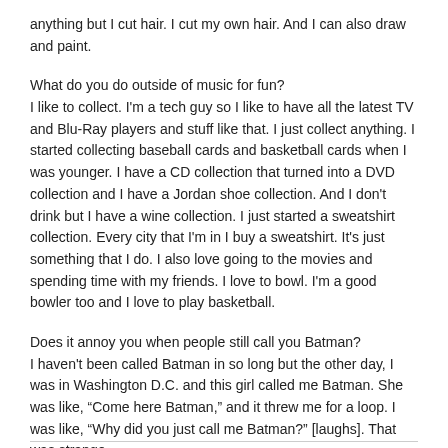anything but I cut hair. I cut my own hair. And I can also draw and paint.
What do you do outside of music for fun?
I like to collect. I'm a tech guy so I like to have all the latest TV and Blu-Ray players and stuff like that. I just collect anything. I started collecting baseball cards and basketball cards when I was younger. I have a CD collection that turned into a DVD collection and I have a Jordan shoe collection. And I don't drink but I have a wine collection. I just started a sweatshirt collection. Every city that I'm in I buy a sweatshirt. It's just something that I do. I also love going to the movies and spending time with my friends. I love to bowl. I'm a good bowler too and I love to play basketball.
Does it annoy you when people still call you Batman?
I haven't been called Batman in so long but the other day, I was in Washington D.C. and this girl called me Batman. She was like, “Come here Batman,” and it threw me for a loop. I was like, “Why did you just call me Batman?” [laughs]. That was strange.